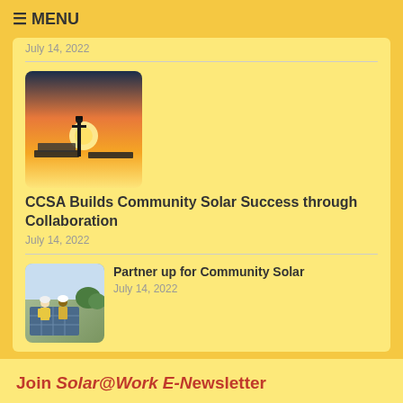≡ MENU
July 14, 2022
CCSA Builds Community Solar Success through Collaboration
July 14, 2022
[Figure (photo): Solar panels at sunset with silhouette equipment]
Partner up for Community Solar
July 14, 2022
[Figure (photo): Workers in yellow vests installing solar panels]
Join Solar@Work E-Newsletter
Switch Language »